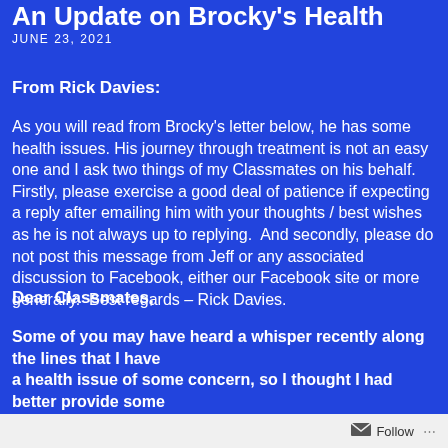An Update on Brocky's Health
JUNE 23, 2021
From Rick Davies:
As you will read from Brocky's letter below, he has some health issues. His journey through treatment is not an easy one and I ask two things of my Classmates on his behalf.  Firstly, please exercise a good deal of patience if expecting a reply after emailing him with your thoughts / best wishes as he is not always up to replying.  And secondly, please do not post this message from Jeff or any associated discussion to Facebook, either our Facebook site or more generally.  Best regards – Rick Davies.
Dear Classmates,
Some of you may have heard a whisper recently along the lines that I have
a health issue of some concern, so I thought I had better provide some
clarity around it now if only to allay your concerns
Follow